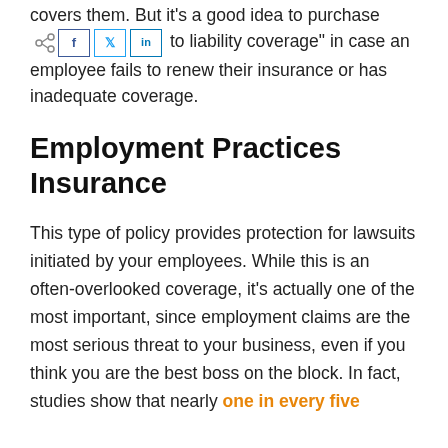covers them. But it’s a good idea to purchase “non-owned auto liability coverage” in case an employee fails to renew their insurance or has inadequate coverage.
Employment Practices Insurance
This type of policy provides protection for lawsuits initiated by your employees. While this is an often-overlooked coverage, it’s actually one of the most important, since employment claims are the most serious threat to your business, even if you think you are the best boss on the block. In fact, studies show that nearly one in every five